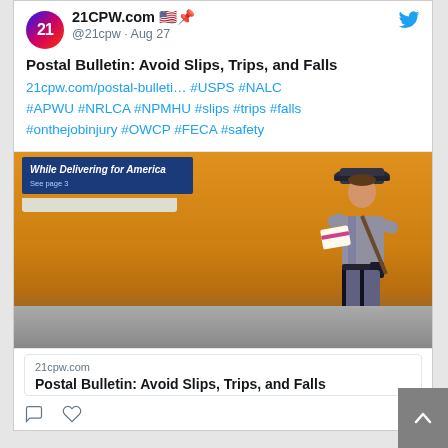21CPW.com 🇺🇸📌 @21cpw · Aug 27
Postal Bulletin: Avoid Slips, Trips, and Falls
21cpw.com/postal-bulleti… #USPS #NALC #APWU #NRLCA #NPMHU #slips #trips #falls #onthejobinjury #OWCP #FECA #safety
[Figure (photo): Postal worker in gray uniform walking briskly along an orange-painted wall, carrying mail. A blue USPS sign reads 'While Delivering for America' with 'See page 3' subtitle. Sidewalk area visible at bottom.]
21cpw.com
Postal Bulletin: Avoid Slips, Trips, and Falls